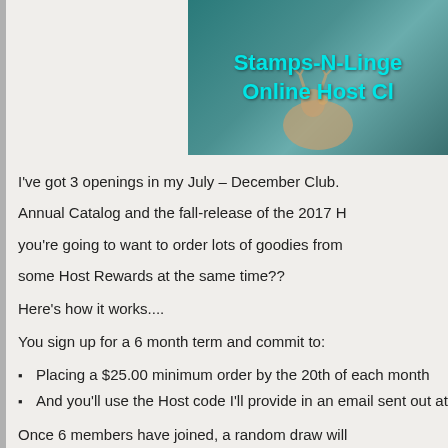[Figure (illustration): Partial banner image showing 'Stamps-N-Linge Online Host Cl' text in cyan on a teal background with a deer silhouette]
I've got 3 openings in my July – December Club. Annual Catalog and the fall-release of the 2017 H you're going to want to order lots of goodies from some Host Rewards at the same time??
Here's how it works....
You sign up for a 6 month term and commit to:
Placing a $25.00 minimum order by the 20th of each month
And you'll use the Host code I'll provide in an email sent out at the
Once 6 members have joined, a random draw will you are guaranteed: